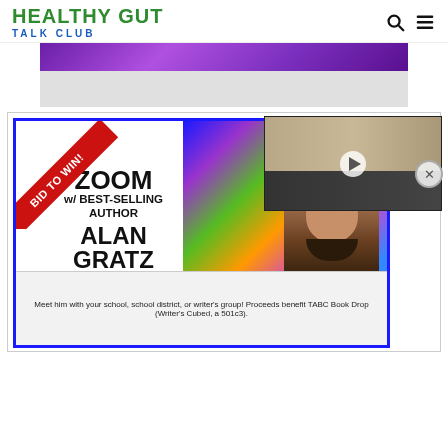HEALTHY GUT TALK CLUB
[Figure (photo): Purple/violet blurred image strip at top of page]
[Figure (infographic): Advertisement banner with blue border. Red ribbon banner reading 'BID TO WIN!' in top-left corner. Text: 'ZOOM w/ BEST-SELLING AUTHOR ALAN GRATZ'. Colorful geometric background on right side with photo of bearded man. Footer text: 'Meet him with your school, school district, or writer's group! Proceeds benefit TABC Book Drop (Writer's Cubed, a 501c3).']
[Figure (screenshot): Video overlay showing dogs/animals with a play button, overlapping the advertisement]